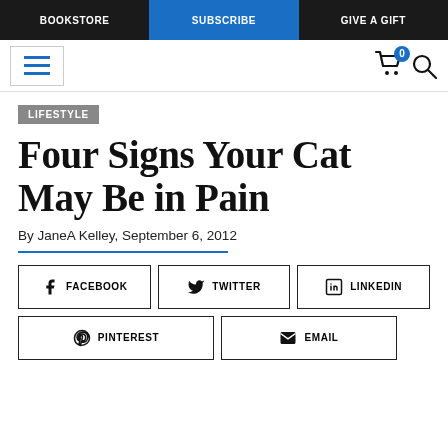BOOKSTORE | SUBSCRIBE | GIVE A GIFT
[Figure (screenshot): Navigation bar with hamburger menu icon, cart icon with badge '0', and search icon]
LIFESTYLE
Four Signs Your Cat May Be in Pain
By JaneA Kelley, September 6, 2012
[Figure (infographic): Social share buttons: Facebook, Twitter, LinkedIn, Pinterest, Email]